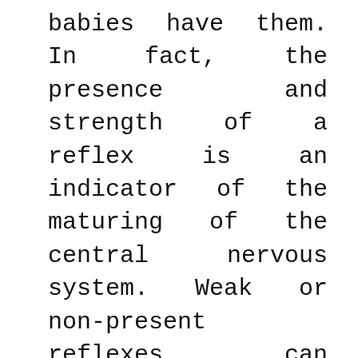babies have them. In fact, the presence and strength of a reflex is an indicator of the maturing of the central nervous system. Weak or non-present reflexes can reflect an immature or damaged central nervous system or even a broken bone. Reflexes get stronger across prenatal development, which means that premature babies often show weaker reflexes than full-term babies. Note that this difference generally goes away when you compare premature and full-term